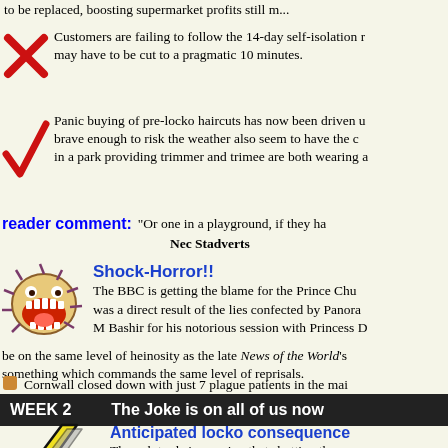to be replaced, boosting supermarket profits still m...
Customers are failing to follow the 14-day self-isolation r... may have to be cut to a pragmatic 10 minutes.
Panic buying of pre-locko haircuts has now been driven u... brave enough to risk the weather also seem to have the c... in a park providing trimmer and trimee are both wearing a...
reader comment: "Or one in a playground, if they ha... Nec Stadverts
Shock-Horror!!
The BBC is getting the blame for the Prince Chu... was a direct result of the lies confected by Panora... M Bashir for his notorious session with Princess D... be on the same level of heinosity as the late News of the World's something which commands the same level of reprisals.
Cornwall closed down with just 7 plague patients in the mai...
WEEK 2    The Joke is on all of us now
Anticipated locko consequence
The pub trade is warning that shutting them extra pressure on the NHS as young people out if deprived of booze.
Accidental overdoses, and also deaths due to incompetence a... expected to soar in the coming month.